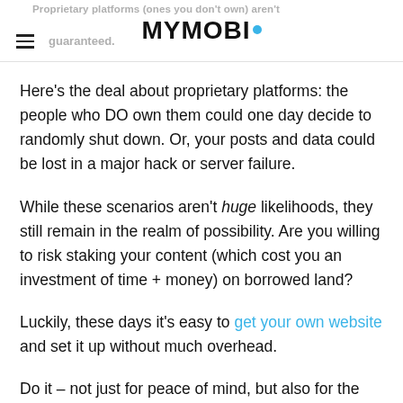Proprietary platforms (ones you don't own) aren't guaranteed. MYMOBI.
Here’s the deal about proprietary platforms: the people who DO own them could one day decide to randomly shut down. Or, your posts and data could be lost in a major hack or server failure.
While these scenarios aren’t huge likelihoods, they still remain in the realm of possibility. Are you willing to risk staking your content (which cost you an investment of time + money) on borrowed land?
Luckily, these days it’s easy to get your own website and set it up without much overhead.
Do it – not just for peace of mind, but also for the sake of your content marketing.